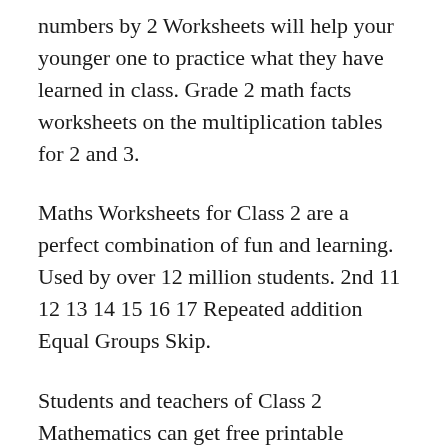numbers by 2 Worksheets will help your younger one to practice what they have learned in class. Grade 2 math facts worksheets on the multiplication tables for 2 and 3.
Maths Worksheets for Class 2 are a perfect combination of fun and learning. Used by over 12 million students. 2nd 11 12 13 14 15 16 17 Repeated addition Equal Groups Skip.
Students and teachers of Class 2 Mathematics can get free printable Worksheets for Class 2 Mathematics in PDF format prepared as per the latest syllabus and examination pattern in your